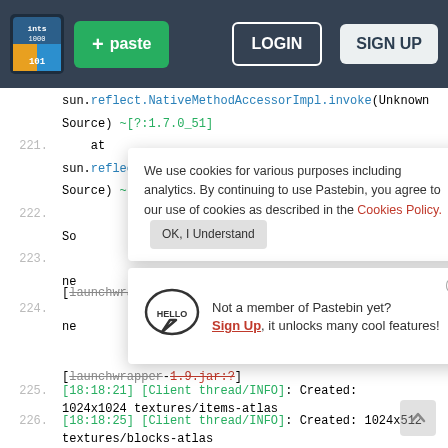[Figure (screenshot): Pastebin website header with logo, paste button, login and sign up buttons]
sun.reflect.NativeMethodAccessorImpl.invoke(Unknown Source) ~[?:1.7.0_51]
221.     at sun.reflect.DelegatingMethodAccessorImpl.invoke(Unknown Source) ~[?:1.7.0_51]
222.
We use cookies for various purposes including analytics. By continuing to use Pastebin, you agree to our use of cookies as described in the Cookies Policy. OK, I Understand
223.
[launchwrapper-1.9.jar:?]
224.
Not a member of Pastebin yet? Sign Up, it unlocks many cool features!
[launchwrapper-1.9.jar:?]
225.  [18:18:21] [Client thread/INFO]: Created: 1024x1024 textures/items-atlas
226.  [18:18:25] [Client thread/INFO]: Created: 1024x512 textures/blocks-atlas